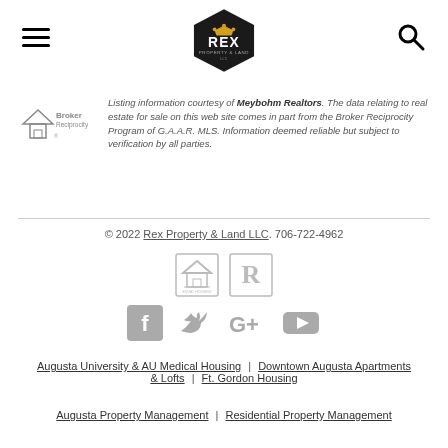[Figure (logo): REX Property & Land LLC hexagonal logo with crown]
Listing information courtesy of Meybohm Realtors. The data relating to real estate for sale on this web site comes in part from the Broker Reciprocity Program of G.A.A.R. MLS. Information deemed reliable but subject to verification by all parties.
© 2022 Rex Property & Land LLC. 706-722-4962
[Figure (infographic): Equal Housing and Realtor badge icons]
[Figure (infographic): Social media icons: Facebook, Twitter, Google+, YouTube]
Augusta University & AU Medical Housing | Downtown Augusta Apartments & Lofts | Ft. Gordon Housing
Augusta Property Management | Residential Property Management